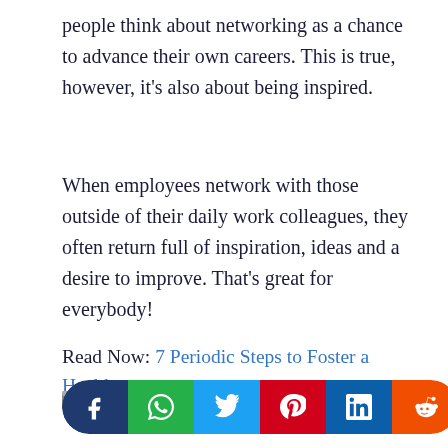people think about networking as a chance to advance their own careers. This is true, however, it's also about being inspired.
When employees network with those outside of their daily work colleagues, they often return full of inspiration, ideas and a desire to improve. That's great for everybody!
Read Now: 7 Periodic Steps to Foster a Healthy
Business
[Figure (infographic): Social media share buttons row: Facebook (dark blue), WhatsApp (green), Twitter (light blue), Pinterest (red), LinkedIn (blue), Reddit (orange), all circular/pill shaped with white icons.]